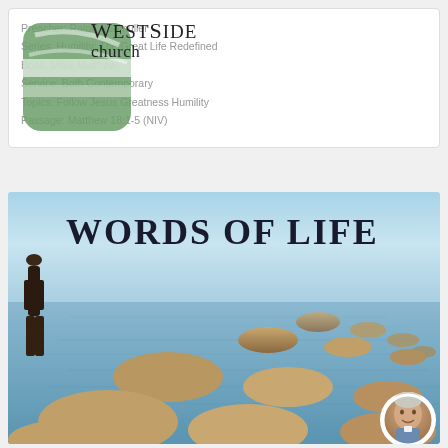Preacher: Ralph Rubmuller
Series: Humility: The Great Life Redefined
Book: Mark Matthew
Service: Both Contemporary
Topics: Follow Jesus Greatness Humility
Passage: Matthew 18:1-5 (NIV)
[Figure (logo): WestSide Church logo - green rounded square with white stripe design, text 'WestSide' and 'church']
[Figure (photo): Words of Life banner image showing a person standing on stepping stones across a calm sea/lake. Text overlay reads 'Words of Life'. A circular avatar photo of a man appears at bottom right.]